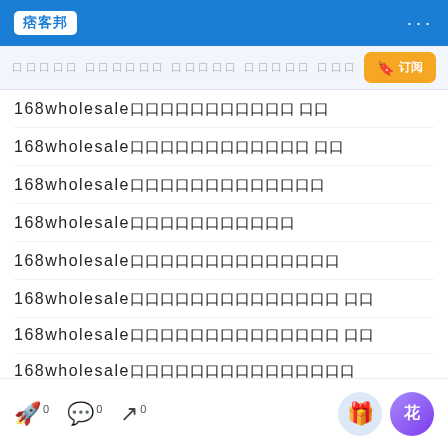痞客邦 · · ·
Search bar with bookmark button and 订阅 label
168wholesale口口口口口口口口口口口 口口
168wholesale口口口口口口口口口口口口 口口
168wholesale口口口口口口口口口口口口口
168wholesale口口口口口口口口口口口
168wholesale口口口口口口口口口口口口口口
168wholesale口口口口口口口口口口口口口口 口口
168wholesale口口口口口口口口口口口口口口 口口
168wholesale口口口口口口口口口口口口口口口
168wholesale口口口口口口口口口口口口口
168wholesale口口口口口口口口口口口
168wholesale口口口口口口口口口口口口 口口
168wholesale口口口口口口口口口口口口 口口
0 comments · 0 messages · 0 share · gift · flower